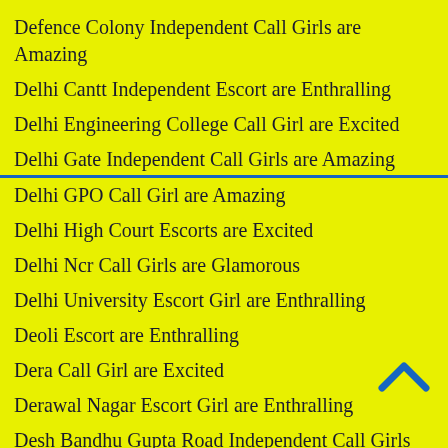Defence Colony Independent Call Girls are Amazing
Delhi Cantt Independent Escort are Enthralling
Delhi Engineering College Call Girl are Excited
Delhi Gate Independent Call Girls are Amazing
Delhi GPO Call Girl are Amazing
Delhi High Court Escorts are Excited
Delhi Ncr Call Girls are Glamorous
Delhi University Escort Girl are Enthralling
Deoli Escort are Enthralling
Dera Call Girl are Excited
Derawal Nagar Escort Girl are Enthralling
Desh Bandhu Gupta Road Independent Call Girls are Enthralling